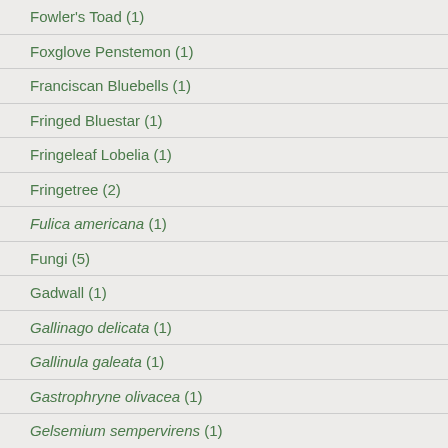Fowler's Toad (1)
Foxglove Penstemon (1)
Franciscan Bluebells (1)
Fringed Bluestar (1)
Fringeleaf Lobelia (1)
Fringetree (2)
Fulica americana (1)
Fungi (5)
Gadwall (1)
Gallinago delicata (1)
Gallinula galeata (1)
Gastrophryne olivacea (1)
Gelsemium sempervirens (1)
Gentiana saponaria (1)
Geranium caespitosum (1)